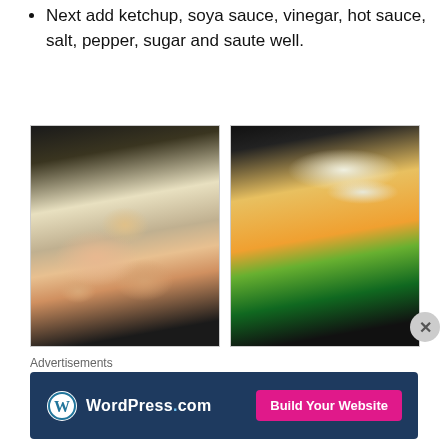Next add ketchup, soya sauce, vinegar, hot sauce, salt, pepper, sugar and saute well.
[Figure (photo): Two cooking photos side by side: left shows raw chicken pieces and onions in a dark wok/pan; right shows shredded cabbage, julienned carrots, and green beans in a dark wok/pan.]
Advertisements
[Figure (infographic): WordPress.com advertisement banner with blue background, WordPress logo on the left, and a pink 'Build Your Website' button on the right.]